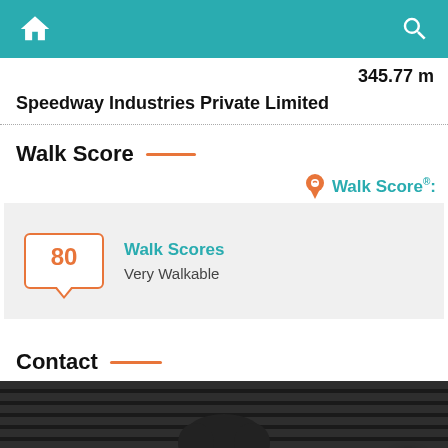[Figure (screenshot): App top navigation bar with home icon and search icon on teal background]
345.77 m
Speedway Industries Private Limited
Walk Score
[Figure (infographic): Walk Score logo with orange location pin icon and teal text 'Walk Score' with registered trademark symbol]
[Figure (infographic): Walk Score card showing score of 80 in orange badge with label 'Walk Scores - Very Walkable']
Contact
[Figure (photo): Partial photo of a person's head against a dark striped background, with a green WhatsApp button in the bottom right corner]